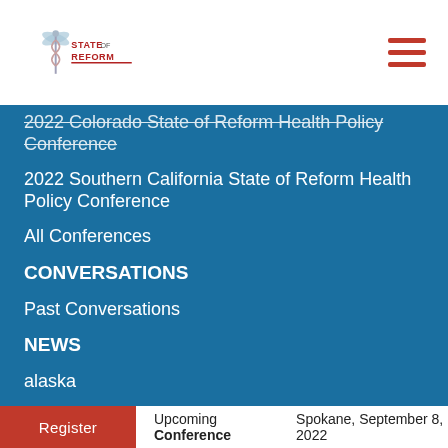[Figure (logo): State of Reform logo with caduceus medical symbol and text 'STATE OF REFORM' with red underline]
2022 Colorado State of Reform Health Policy Conference
2022 Southern California State of Reform Health Policy Conference
All Conferences
CONVERSATIONS
Past Conversations
NEWS
alaska
arizona
california
colorado
florida
hawaii
maryland
michigan
oregon
Register   Upcoming Conference   Spokane, September 8, 2022